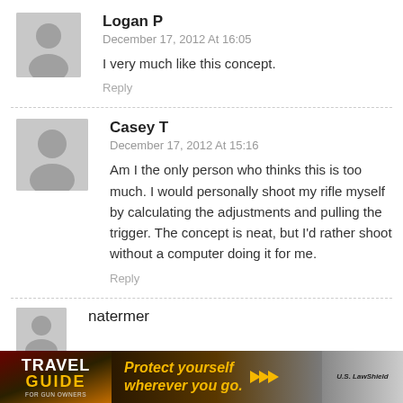Logan P
December 17, 2012 At 16:05
I very much like this concept.
Reply
Casey T
December 17, 2012 At 15:16
Am I the only person who thinks this is too much. I would personally shoot my rifle myself by calculating the adjustments and pulling the trigger. The concept is neat, but I'd rather shoot without a computer doing it for me.
Reply
natermer
[Figure (infographic): Travel Guide For Gun Owners advertisement banner. Text: Protect yourself wherever you go. U.S. LawShield branding.]